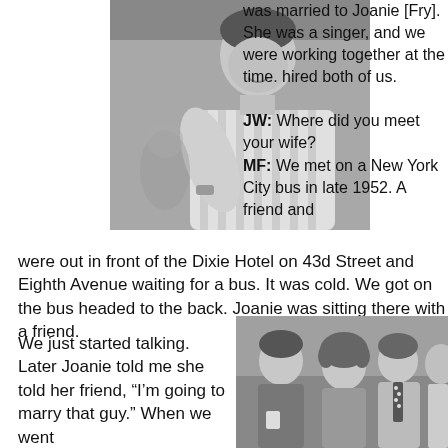[Figure (photo): Black and white photo of a man in a striped shirt, smiling and leaning forward, appears to be outdoors or at a casual event.]
was married to Joanie [Fry]. She was a singer, and we were working together at the time. hired both of us.
JW: Where did you meet your wife?
MF: We met on a New York City bus in late 1952. A friend and were out in front of the Dixie Hotel on 43d Street and Eighth Avenue waiting for a bus. It was cold. We got on the bus headed to the back. Joanie was sitting there with a friend.
We just started talking. Later Joanie told me she told her friend, “I’m going to marry that guy.” When we went
[Figure (photo): Black and white group photo showing three or four people at what appears to be a social gathering. A young man on the left holds a cup, a woman with curly hair in the center, and two men wearing ties on the right.]